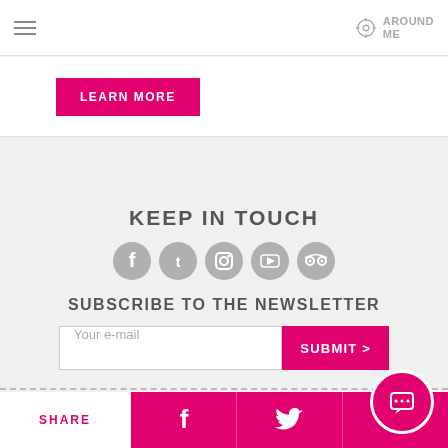AROUND ME
LEARN MORE
KEEP IN TOUCH
[Figure (other): Social media icons: Facebook, Twitter, Instagram, YouTube, TripAdvisor]
SUBSCRIBE TO THE NEWSLETTER
Your e-mail | SUBMIT >
SHARE
[Figure (other): Facebook share icon]
[Figure (other): Twitter share icon]
[Figure (other): Chat bubble button]